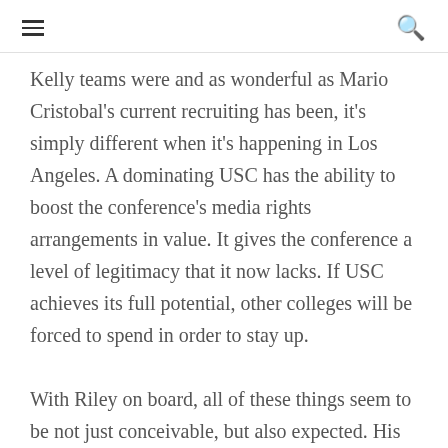≡  🔍
Kelly teams were and as wonderful as Mario Cristobal's current recruiting has been, it's simply different when it's happening in Los Angeles. A dominating USC has the ability to boost the conference's media rights arrangements in value. It gives the conference a level of legitimacy that it now lacks. If USC achieves its full potential, other colleges will be forced to spend in order to stay up.
With Riley on board, all of these things seem to be not just conceivable, but also expected. His presence will likely make winning the Pac-12 more difficult for teams, but the trickle-down effect should help the league as a whole enhance its standing in comparison to the rest of the